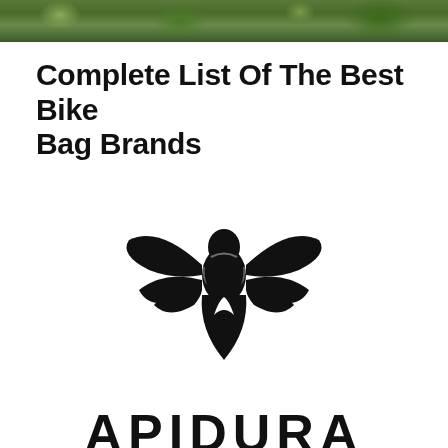[Figure (photo): Partial outdoor/nature photo strip at top of page, showing green foliage/trees]
Complete List Of The Best Bike Bag Brands
[Figure (logo): Apidura brand logo: black stylized bee/wasp insect above the text APIDURA in bold black letters]